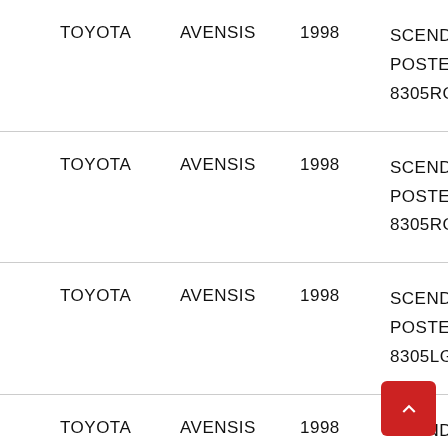| Brand | Model | Year | Description |
| --- | --- | --- | --- |
| TOYOTA | AVENSIS | 1998 | SCENDENTE
POSTERIORE
8305RGNS4R |
| TOYOTA | AVENSIS | 1998 | SCENDENTE
POSTERIORE
8305RGSS4R |
| TOYOTA | AVENSIS | 1998 | SCENDENTE
POSTERIORE
8305LGNS4R |
| TOYOTA | AVENSIS | 1998 | SCENDENTE
POSTERIORE
8305R...5R |